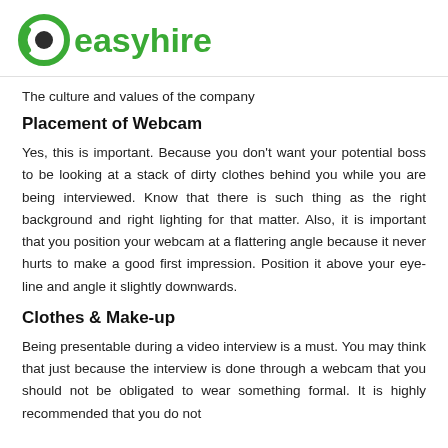[Figure (logo): easyhire logo with green circular icon and green text 'easyhire']
The culture and values of the company
Placement of Webcam
Yes, this is important. Because you don't want your potential boss to be looking at a stack of dirty clothes behind you while you are being interviewed. Know that there is such thing as the right background and right lighting for that matter. Also, it is important that you position your webcam at a flattering angle because it never hurts to make a good first impression. Position it above your eye-line and angle it slightly downwards.
Clothes & Make-up
Being presentable during a video interview is a must. You may think that just because the interview is done through a webcam that you should not be obligated to wear something formal. It is highly recommended that you do not